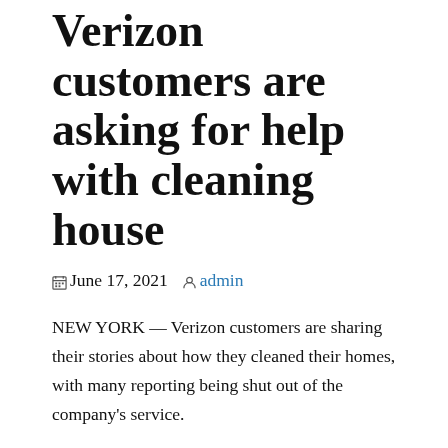Verizon customers are asking for help with cleaning house
June 17, 2021   admin
NEW YORK — Verizon customers are sharing their stories about how they cleaned their homes, with many reporting being shut out of the company's service.
Veronica Hickey of Chicago says she went to